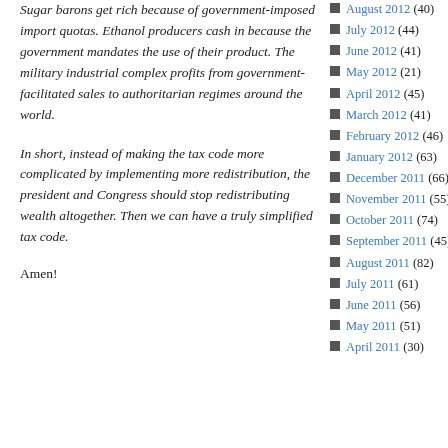Sugar barons get rich because of government-imposed import quotas. Ethanol producers cash in because the government mandates the use of their product. The military industrial complex profits from government-facilitated sales to authoritarian regimes around the world.
In short, instead of making the tax code more complicated by implementing more redistribution, the president and Congress should stop redistributing wealth altogether. Then we can have a truly simplified tax code.
Amen!
August 2012 (40)
July 2012 (44)
June 2012 (41)
May 2012 (21)
April 2012 (45)
March 2012 (41)
February 2012 (46)
January 2012 (63)
December 2011 (66)
November 2011 (55)
October 2011 (74)
September 2011 (45)
August 2011 (82)
July 2011 (61)
June 2011 (56)
May 2011 (51)
April 2011 (30)